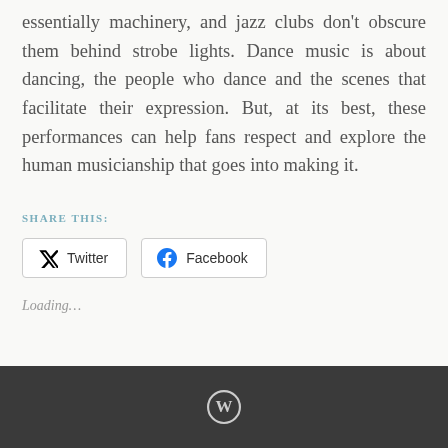essentially machinery, and jazz clubs don't obscure them behind strobe lights. Dance music is about dancing, the people who dance and the scenes that facilitate their expression. But, at its best, these performances can help fans respect and explore the human musicianship that goes into making it.
SHARE THIS:
Twitter  Facebook
Loading...
WordPress icon